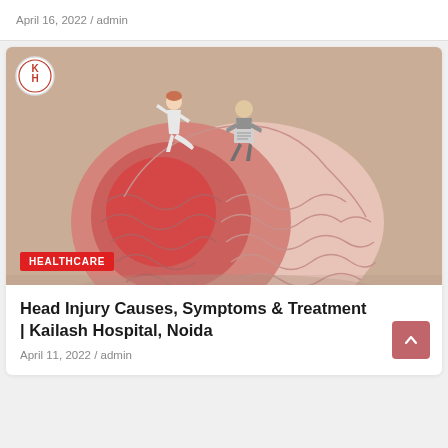April 16, 2022 / admin
[Figure (photo): A brain model with pink and red coloring on a beige background, with two miniature figurines sitting on top — one in white clothing and one in gray. A hospital logo (KH) appears top-left. A red HEALTHCARE badge is at the bottom-left.]
Head Injury Causes, Symptoms & Treatment | Kailash Hospital, Noida
April 11, 2022 / admin